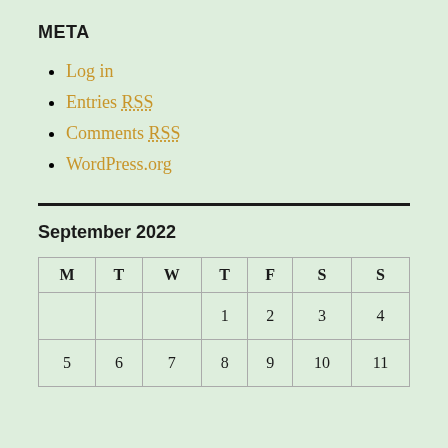META
Log in
Entries RSS
Comments RSS
WordPress.org
September 2022
| M | T | W | T | F | S | S |
| --- | --- | --- | --- | --- | --- | --- |
|  |  |  | 1 | 2 | 3 | 4 |
| 5 | 6 | 7 | 8 | 9 | 10 | 11 |